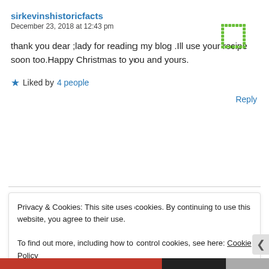sirkevinshistoricfacts
December 23, 2018 at 12:43 pm
thank you dear ;lady for reading my blog .Ill use your recipe soon too.Happy Christmas to you and yours.
★ Liked by 4 people
Reply
Privacy & Cookies: This site uses cookies. By continuing to use this website, you agree to their use.
To find out more, including how to control cookies, see here: Cookie Policy
Close and accept